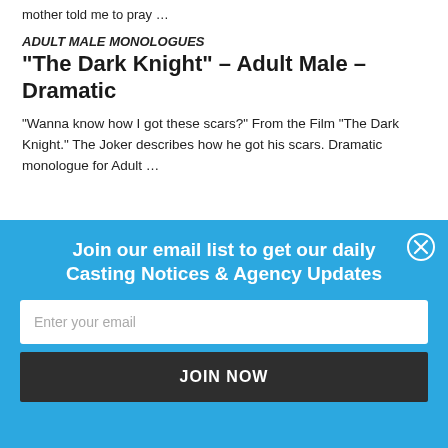mother told me to pray …
ADULT MALE MONOLOGUES
“The Dark Knight” – Adult Male – Dramatic
“Wanna know how I got these scars?” From the Film “The Dark Knight.” The Joker describes how he got his scars. Dramatic monologue for Adult …
Join our email list to get our daily Casting Notices & Agency Updates
Enter your email
JOIN NOW